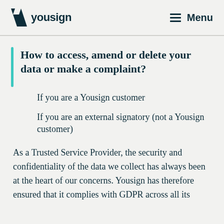yousign   Menu
How to access, amend or delete your data or make a complaint?
If you are a Yousign customer
If you are an external signatory (not a Yousign customer)
As a Trusted Service Provider, the security and confidentiality of the data we collect has always been at the heart of our concerns. Yousign has therefore ensured that it complies with GDPR across all its